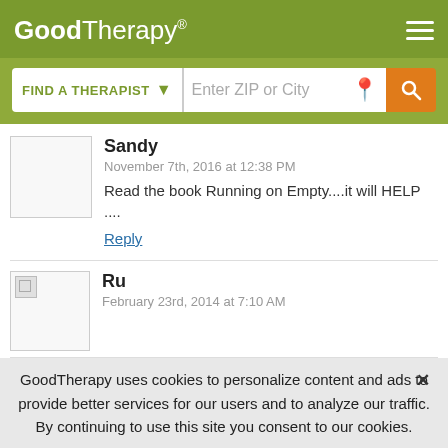[Figure (logo): GoodTherapy logo with navigation header in olive green]
[Figure (screenshot): Search bar with FIND A THERAPIST dropdown and Enter ZIP or City input field]
Sandy
November 7th, 2016 at 12:38 PM
Read the book Running on Empty....it will HELP ....
Reply
Ru
February 23rd, 2014 at 7:10 AM
GoodTherapy uses cookies to personalize content and ads to provide better services for our users and to analyze our traffic. By continuing to use this site you consent to our cookies.